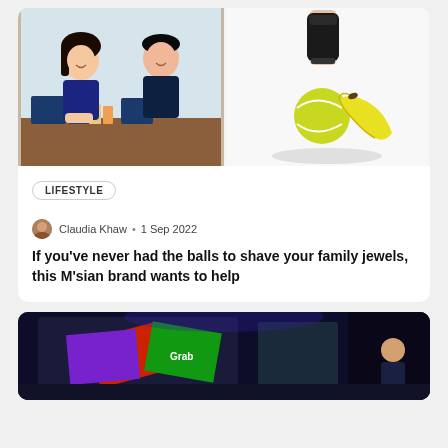[Figure (photo): Two people (woman and man) sitting at a table with blue boxes and grooming products displayed]
[Figure (photo): A hand holding a hair trimmer/grooming device above a tennis ball and a banana on white background]
LIFESTYLE
Claudia Khaw • 1 Sep 2022
If you've never had the balls to shave your family jewels, this M'sian brand wants to help
[Figure (photo): A presentation event with colorful Grab branding on screens, presenter on stage, dark curtained venue]